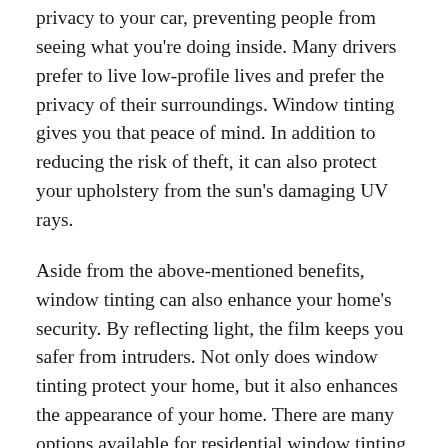privacy to your car, preventing people from seeing what you're doing inside. Many drivers prefer to live low-profile lives and prefer the privacy of their surroundings. Window tinting gives you that peace of mind. In addition to reducing the risk of theft, it can also protect your upholstery from the sun's damaging UV rays.
Aside from the above-mentioned benefits, window tinting can also enhance your home's security. By reflecting light, the film keeps you safer from intruders. Not only does window tinting protect your home, but it also enhances the appearance of your home. There are many options available for residential window tinting, so you'll have many options to choose from. No matter what you're looking for, window tinting will make your home more attractive and comfortable.
Another benefit of window film is that it blocks UV rays, which contribute to interior discoloration, cracking, and warning. Moreover, it protects upholstery against fading.